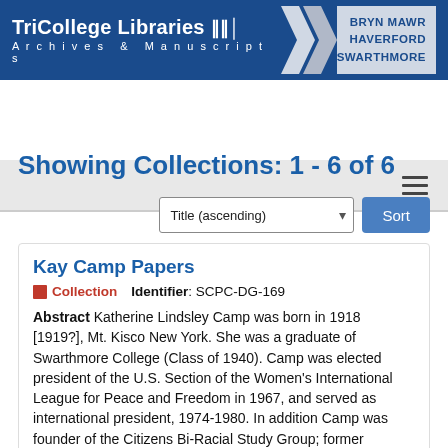TriCollege Libraries Archives & Manuscripts | BRYN MAWR HAVERFORD SWARTHMORE
Showing Collections: 1 - 6 of 6
Kay Camp Papers
Collection   Identifier: SCPC-DG-169
Abstract Katherine Lindsley Camp was born in 1918 [1919?], Mt. Kisco New York. She was a graduate of Swarthmore College (Class of 1940). Camp was elected president of the U.S. Section of the Women's International League for Peace and Freedom in 1967, and served as international president, 1974-1980. In addition Camp was founder of the Citizens Bi-Racial Study Group; former president of the Pennsylvania